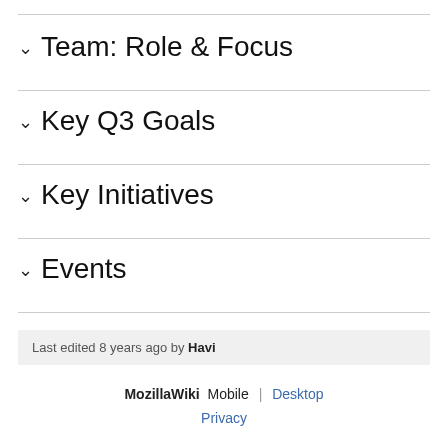Team: Role & Focus
Key Q3 Goals
Key Initiatives
Events
Last edited 8 years ago by Havi
MozillaWiki  Mobile  |  Desktop
Privacy